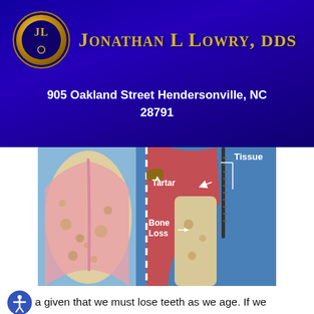[Figure (logo): Jonathan L Lowry DDS practice logo with gold oval JL monogram on dark blue background and gold serif practice name text]
905 Oakland Street Hendersonville, NC 28791
[Figure (illustration): Medical dental illustration showing cross-section of teeth and gums with labels: Tissue (top right), Tartar (middle, with arrow), Bone Loss (lower middle, with arrow). Shows comparison of healthy vs diseased tooth on blue background.]
It is not a given that we must lose teeth as we age. If we maintain good oral hygiene and have regular professional